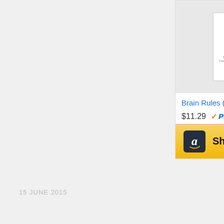[Figure (screenshot): Amazon product ad card for Brain Rules book showing book cover, title, price $11.29 with Prime badge, and Shop now button with Amazon logo]
Brain Rules (Updated and...
$11.29
Shop now
15 JUNE 2015